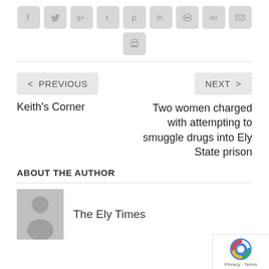[Figure (other): Social sharing icons row: Facebook, Twitter, Google+, Tumblr, Pinterest, LinkedIn, Buffer, StumbleUpon, Email, and Print]
< PREVIOUS
Keith's Corner
NEXT >
Two women charged with attempting to smuggle drugs into Ely State prison
ABOUT THE AUTHOR
[Figure (other): Default author avatar placeholder (grey silhouette)]
The Ely Times